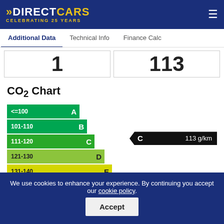DIRECT CARS — CELEBRATING 25 YEARS
Additional Data | Technical Info | Finance Calc
1   113
CO₂ Chart
[Figure (infographic): CO2 emissions rating chart showing bands A through F with colours from green to yellow. Band C (111-120) is highlighted with a black arrow indicator showing C 113 g/km.]
We use cookies to enhance your experience. By continuing you accept our cookie policy.